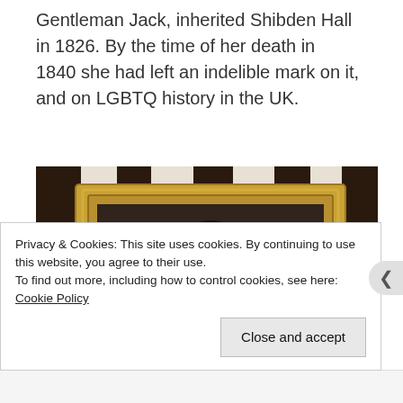Gentleman Jack, inherited Shibden Hall in 1826. By the time of her death in 1840 she had left an indelible mark on it, and on LGBTQ history in the UK.
[Figure (photo): A portrait painting in an ornate gold frame hanging on a wall with dark timber beams. The portrait shows a person with dark curly hair and a white collar.]
Privacy & Cookies: This site uses cookies. By continuing to use this website, you agree to their use.
To find out more, including how to control cookies, see here: Cookie Policy
Close and accept